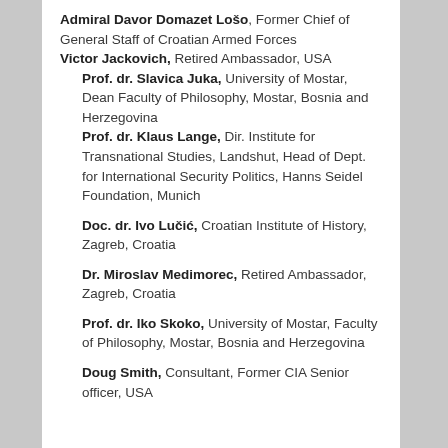Admiral Davor Domazet Lošo, Former Chief of General Staff of Croatian Armed Forces
Victor Jackovich, Retired Ambassador, USA
Prof. dr. Slavica Juka, University of Mostar, Dean Faculty of Philosophy, Mostar, Bosnia and Herzegovina
Prof. dr. Klaus Lange, Dir. Institute for Transnational Studies, Landshut, Head of Dept. for International Security Politics, Hanns Seidel Foundation, Munich
Doc. dr. Ivo Lučić, Croatian Institute of History, Zagreb, Croatia
Dr. Miroslav Medimorec, Retired Ambassador, Zagreb, Croatia
Prof. dr. Iko Skoko, University of Mostar, Faculty of Philosophy, Mostar, Bosnia and Herzegovina
Doug Smith, Consultant, Former CIA Senior officer, USA